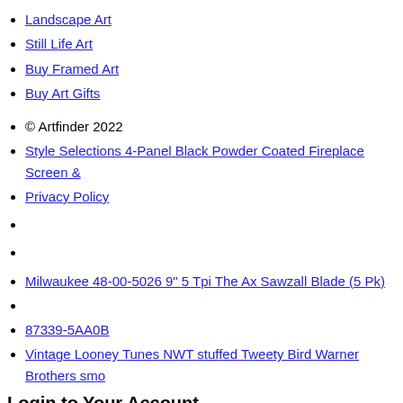Landscape Art
Still Life Art
Buy Framed Art
Buy Art Gifts
© Artfinder 2022
Style Selections 4-Panel Black Powder Coated Fireplace Screen &
Privacy Policy
Milwaukee 48-00-5026 9" 5 Tpi The Ax Sawzall Blade (5 Pk)
87339-5AA0B
Vintage Looney Tunes NWT stuffed Tweety Bird Warner Brothers smo
Login to Your Account
×